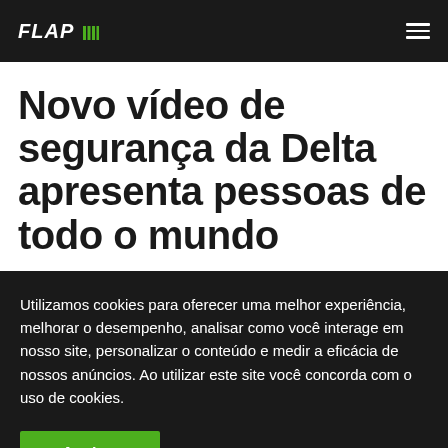FLAP
Novo vídeo de segurança da Delta apresenta pessoas de todo o mundo
Utilizamos cookies para oferecer uma melhor experiência, melhorar o desempenho, analisar como você interage em nosso site, personalizar o conteúdo e medir a eficácia de nossos anúncios. Ao utilizar este site você concorda com o uso de cookies.
Aceitar